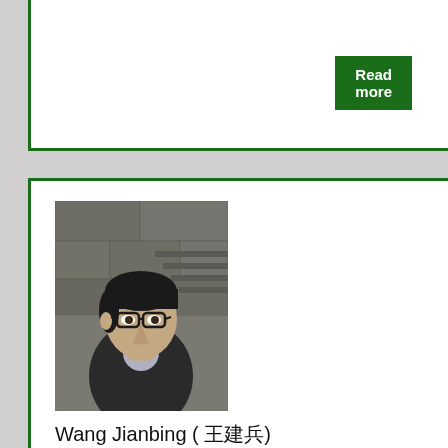[Figure (other): Read more button — dark green button with white bold text]
[Figure (photo): Portrait photograph of Wang Jianbing, a young Asian man wearing glasses and a dark knit sweater, looking upward against a stone wall background]
Wang Jianbing ( 王建兵)
June 24, 2022
The UN Working Group on Arbitrary Detention determined that Wang Jianbing was being held arbitrarily, and that the government should take